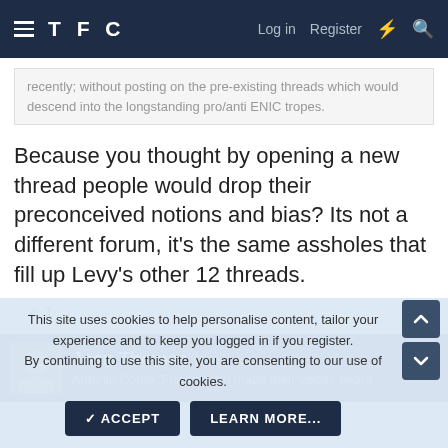TFC   Log in   Register
recently; without posting on the pre-existing threads which would descend into the longstanding pro/anti ENIC tropes.
Because you thought by opening a new thread people would drop their preconceived notions and bias? Its not a different forum, it's the same assholes that fill up Levy's other 12 threads.
✓ 1
Joan Thomas  Antonio Conte..For the who made their voices heard
This site uses cookies to help personalise content, tailor your experience and to keep you logged in if you register.
By continuing to use this site, you are consenting to our use of cookies.
✓ ACCEPT   LEARN MORE...